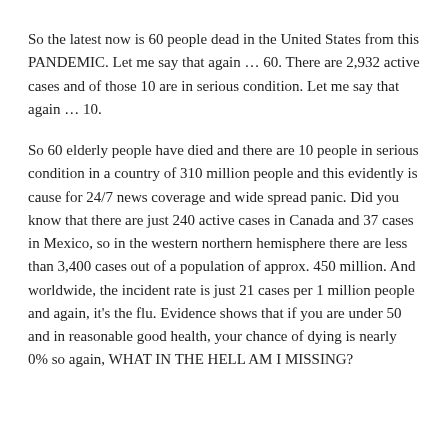So the latest now is 60 people dead in the United States from this PANDEMIC. Let me say that again … 60. There are 2,932 active cases and of those 10 are in serious condition. Let me say that again … 10.
So 60 elderly people have died and there are 10 people in serious condition in a country of 310 million people and this evidently is cause for 24/7 news coverage and wide spread panic. Did you know that there are just 240 active cases in Canada and 37 cases in Mexico, so in the western northern hemisphere there are less than 3,400 cases out of a population of approx. 450 million. And worldwide, the incident rate is just 21 cases per 1 million people and again, it's the flu. Evidence shows that if you are under 50 and in reasonable good health, your chance of dying is nearly 0% so again, WHAT IN THE HELL AM I MISSING?